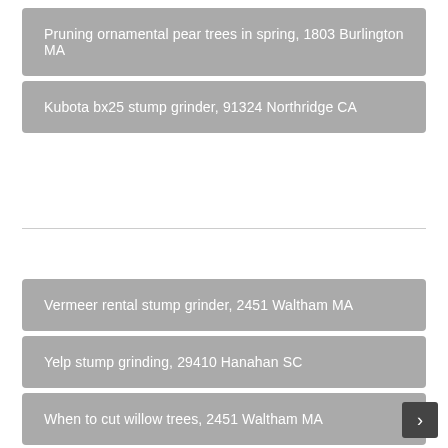Pruning ornamental pear trees in spring, 1803 Burlington MA
Kubota bx25 stump grinder, 91324 Northridge CA
Vermeer rental stump grinder, 2451 Waltham MA
Yelp stump grinding, 29410 Hanahan SC
When to cut willow trees, 2451 Waltham MA
Mike bush mag drop, 2482 Wellesley MA
Predator st661 stump grinder, 2493 Weston MA